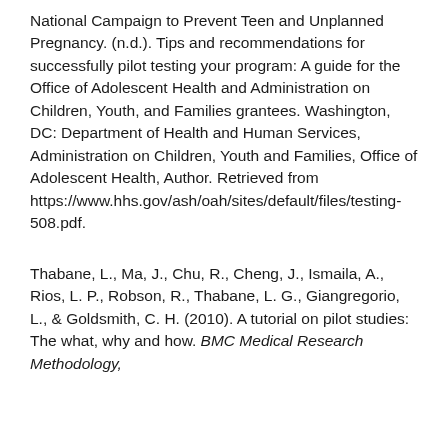National Campaign to Prevent Teen and Unplanned Pregnancy. (n.d.). Tips and recommendations for successfully pilot testing your program: A guide for the Office of Adolescent Health and Administration on Children, Youth, and Families grantees. Washington, DC: Department of Health and Human Services, Administration on Children, Youth and Families, Office of Adolescent Health, Author. Retrieved from https://www.hhs.gov/ash/oah/sites/default/files/testing-508.pdf.
Thabane, L., Ma, J., Chu, R., Cheng, J., Ismaila, A., Rios, L. P., Robson, R., Thabane, L. G., Giangregorio, L., & Goldsmith, C. H. (2010). A tutorial on pilot studies: The what, why and how. BMC Medical Research Methodology,